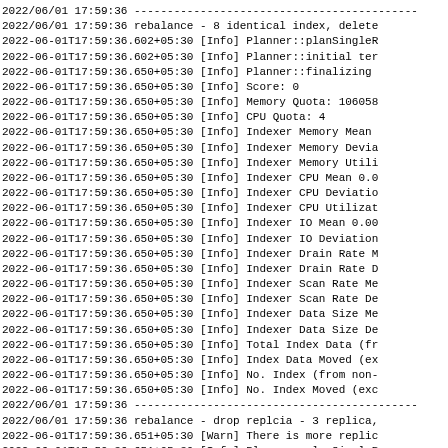2022/06/01 17:59:36 -------------------------------------------
2022/06/01 17:59:36 rebalance - 8 identical index, delete
2022-06-01T17:59:36.602+05:30 [Info] Planner::planSingleR
2022-06-01T17:59:36.602+05:30 [Info] Planner::initial ter
2022-06-01T17:59:36.650+05:30 [Info] Planner::finalizing
2022-06-01T17:59:36.650+05:30 [Info] Score: 0
2022-06-01T17:59:36.650+05:30 [Info] Memory Quota: 106058
2022-06-01T17:59:36.650+05:30 [Info] CPU Quota: 4
2022-06-01T17:59:36.650+05:30 [Info] Indexer Memory Mean
2022-06-01T17:59:36.650+05:30 [Info] Indexer Memory Devia
2022-06-01T17:59:36.650+05:30 [Info] Indexer Memory Utili
2022-06-01T17:59:36.650+05:30 [Info] Indexer CPU Mean 0.0
2022-06-01T17:59:36.650+05:30 [Info] Indexer CPU Deviatio
2022-06-01T17:59:36.650+05:30 [Info] Indexer CPU Utilizat
2022-06-01T17:59:36.650+05:30 [Info] Indexer IO Mean 0.00
2022-06-01T17:59:36.650+05:30 [Info] Indexer IO Deviation
2022-06-01T17:59:36.650+05:30 [Info] Indexer Drain Rate M
2022-06-01T17:59:36.650+05:30 [Info] Indexer Drain Rate D
2022-06-01T17:59:36.650+05:30 [Info] Indexer Scan Rate Me
2022-06-01T17:59:36.650+05:30 [Info] Indexer Scan Rate De
2022-06-01T17:59:36.650+05:30 [Info] Indexer Data Size Me
2022-06-01T17:59:36.650+05:30 [Info] Indexer Data Size De
2022-06-01T17:59:36.650+05:30 [Info] Total Index Data (fr
2022-06-01T17:59:36.650+05:30 [Info] Index Data Moved (ex
2022-06-01T17:59:36.650+05:30 [Info] No. Index (from non-
2022-06-01T17:59:36.650+05:30 [Info] No. Index Moved (exc
2022/06/01 17:59:36 -------------------------------------------
2022/06/01 17:59:36 rebalance - drop replcia - 3 replica,
2022-06-01T17:59:36.651+05:30 [Warn] There is more replic
2022-06-01T17:59:36.651+05:30 [Info] Planner::planSingleR